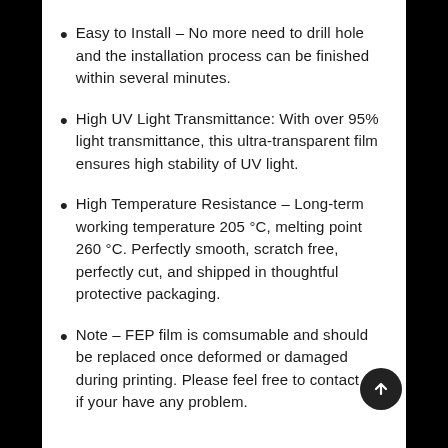Easy to Install – No more need to drill hole and the installation process can be finished within several minutes.
High UV Light Transmittance: With over 95% light transmittance, this ultra-transparent film ensures high stability of UV light.
High Temperature Resistance – Long-term working temperature 205 °C, melting point 260 °C. Perfectly smooth, scratch free, perfectly cut, and shipped in thoughtful protective packaging.
Note – FEP film is comsumable and should be replaced once deformed or damaged during printing. Please feel free to contact us if your have any problem.